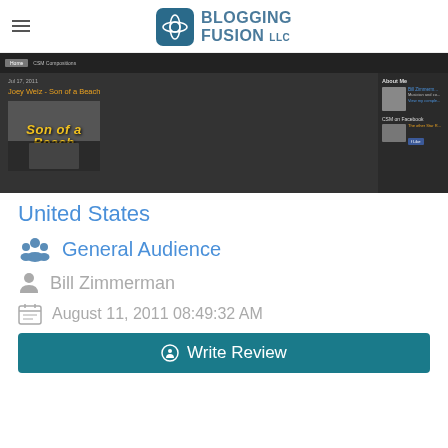BLOGGING FUSION LLC
[Figure (screenshot): Screenshot of a blog page showing 'Joey Weiz - Son of a Beach' with an image of a man in a hat under 'Son of a Beach' yellow text, with sidebar showing About Me section and CSM on Facebook widget]
United States
General Audience
Bill Zimmerman
August 11, 2011 08:49:32 AM
Write Review